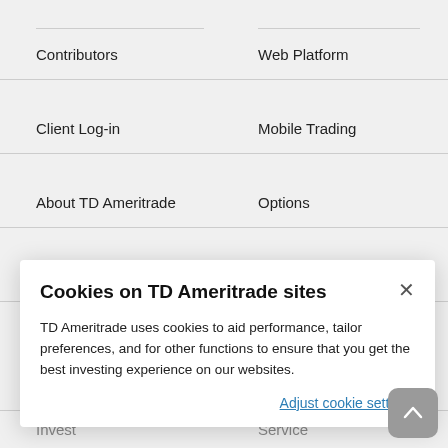Contributors
Web Platform
Client Log-in
Mobile Trading
About TD Ameritrade
Options
Open New Account
Futures
Cookies on TD Ameritrade sites
TD Ameritrade uses cookies to aid performance, tailor preferences, and for other functions to ensure that you get the best investing experience on our websites.
Adjust cookie settings
Invest
Service